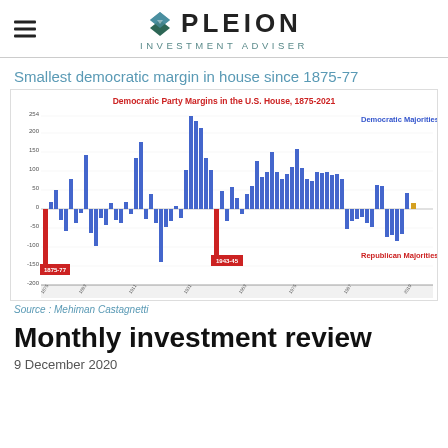PLEION INVESTMENT ADVISER
Smallest democratic margin in house since 1875-77
[Figure (bar-chart): Bar chart showing Democratic Party margins in the U.S. House from 1875 to 2021. Blue bars above zero represent Democratic Majorities; red/blue bars below zero represent Republican Majorities. Two highlighted red bars mark 1875-77 and 1943-45 as the smallest Democratic margins.]
Source : Mehiman Castagnetti
Monthly investment review
9 December 2020